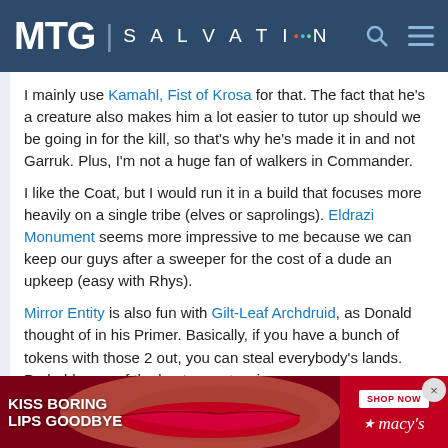MTG | SALVATION
I mainly use Kamahl, Fist of Krosa for that. The fact that he's a creature also makes him a lot easier to tutor up should we be going in for the kill, so that's why he's made it in and not Garruk. Plus, I'm not a huge fan of walkers in Commander.
I like the Coat, but I would run it in a build that focuses more heavily on a single tribe (elves or saprolings). Eldrazi Monument seems more impressive to me because we can keep our guys after a sweeper for the cost of a dude an upkeep (easy with Rhys).
Mirror Entity is also fun with Gilt-Leaf Archdruid, as Donald thought of in his Primer. Basically, if you have a bunch of tokens with those 2 out, you can steal everybody's lands. Probably one of the best ways to win.
[Figure (other): Advertisement banner for Macy's lipstick product with text KISS BORING LIPS GOODBYE and SHOP NOW button]